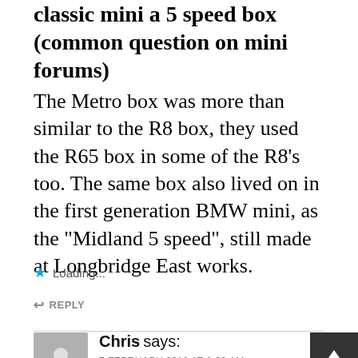classic mini a 5 speed box (common question on mini forums)
The Metro box was more than similar to the R8 box, they used the R65 box in some of the R8’s too. The same box also lived on in the first generation BMW mini, as the “Midland 5 speed”, still made at Longbridge East works.
Loading...
REPLY
Chris says:
7 FEBRUARY 2012 AT 9.09 AM